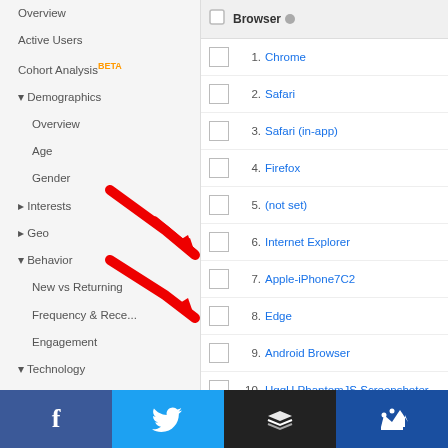Overview
Active Users
Cohort Analysis BETA
▾ Demographics
Overview
Age
Gender
▸ Interests
▸ Geo
▾ Behavior
New vs Returning
Frequency & Rece...
Engagement
▾ Technology
Browser & OS
Network
▾ Mobile
Overview
Devices
|  |  | Browser |
| --- | --- | --- |
|  | 1. | Chrome |
|  | 2. | Safari |
|  | 3. | Safari (in-app) |
|  | 4. | Firefox |
|  | 5. | (not set) |
|  | 6. | Internet Explorer |
|  | 7. | Apple-iPhone7C2 |
|  | 8. | Edge |
|  | 9. | Android Browser |
|  | 10. | HggH PhantomJS Screenshoter |
[Figure (infographic): Two red arrows pointing to 'Browser & OS' menu item and 'Mobile > Overview' menu item in the left navigation panel]
[Figure (infographic): Social media sharing bar with Facebook (blue), Twitter (light blue), Buffer (black), and a crown/king icon (dark blue) buttons]